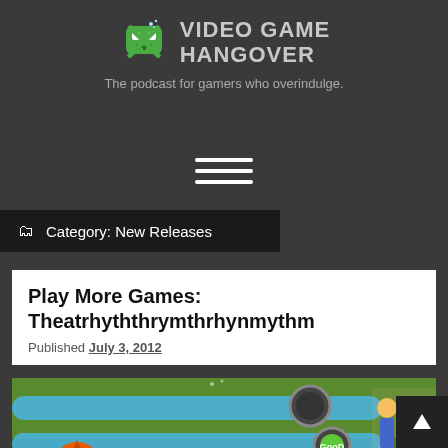[Figure (logo): Video Game Hangover logo with pixel art skull-like character and text 'VIDEO GAME HANGOVER']
The podcast for gamers who overindulge.
[Figure (other): Hamburger menu icon with three horizontal lines]
Category: New Releases
Play More Games: Theatrhyththrymthrhynmythm
Published July 3, 2012
[Figure (screenshot): Screenshot of a rhythm game (Theatrhythm Final Fantasy style) showing colorful game elements, a monster character on the left, anime characters on the right, and circular tap indicators with 'Good' text. Blue lane runs horizontally across the screen.]